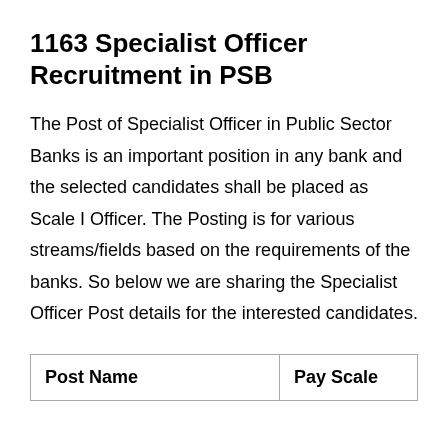1163 Specialist Officer Recruitment in PSB
The Post of Specialist Officer in Public Sector Banks is an important position in any bank and the selected candidates shall be placed as Scale I Officer. The Posting is for various streams/fields based on the requirements of the banks. So below we are sharing the Specialist Officer Post details for the interested candidates.
| Post Name | Pay Scale |
| --- | --- |